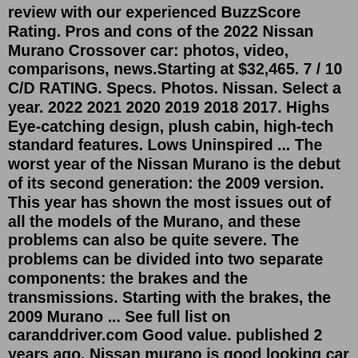review with our experienced BuzzScore Rating. Pros and cons of the 2022 Nissan Murano Crossover car: photos, video, comparisons, news.Starting at $32,465. 7 / 10 C/D RATING. Specs. Photos. Nissan. Select a year. 2022 2021 2020 2019 2018 2017. Highs Eye-catching design, plush cabin, high-tech standard features. Lows Uninspired ... The worst year of the Nissan Murano is the debut of its second generation: the 2009 version. This year has shown the most issues out of all the models of the Murano, and these problems can also be quite severe. The problems can be divided into two separate components: the brakes and the transmissions. Starting with the brakes, the 2009 Murano ... See full list on caranddriver.com Good value. published 2 years ago. Nissan murano is good looking car with smooth driving experience. It's really good value for the money. Just make sure service the transmission oil n right time. If you maintain very well sure it's the best suv for value. Purchased in July 2020 for $20,000. Build Quality. Aug 14, 2017 · Road warrior. When it comes to the